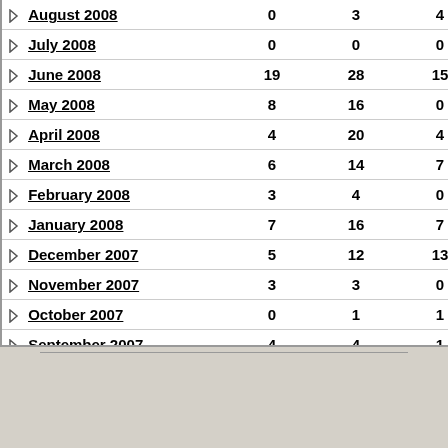| Month | Col1 | Col2 | Col3 |
| --- | --- | --- | --- |
| August 2008 | 0 | 3 | 4 |
| July 2008 | 0 | 0 | 0 |
| June 2008 | 19 | 28 | 15 |
| May 2008 | 8 | 16 | 0 |
| April 2008 | 4 | 20 | 4 |
| March 2008 | 6 | 14 | 7 |
| February 2008 | 3 | 4 | 0 |
| January 2008 | 7 | 16 | 7 |
| December 2007 | 5 | 12 | 13 |
| November 2007 | 3 | 3 | 0 |
| October 2007 | 0 | 1 | 1 |
| September 2007 | 4 | 4 | 1 |
| June 2007 | 0 | 0 | 0 |
| December 2001 | 0 | 0 | 0 |
© AesopsRetreat
Powered by SMF 1.1.11 | SMF © 2006-2009, Simple Machines LLC
Page created in 1.669 seconds with 32 queries.